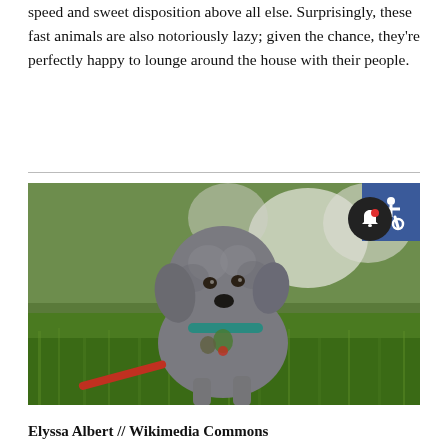speed and sweet disposition above all else. Surprisingly, these fast animals are also notoriously lazy; given the chance, they're perfectly happy to lounge around the house with their people.
[Figure (photo): A grey curly-haired puppy (Bedlington Terrier) standing on green grass outdoors with blurred white flowers in the background. The dog wears a teal collar with tags. There is a blue accessibility icon badge in the upper right corner of the image and a dark notification bell button in the lower right.]
Elyssa Albert // Wikimedia Commons